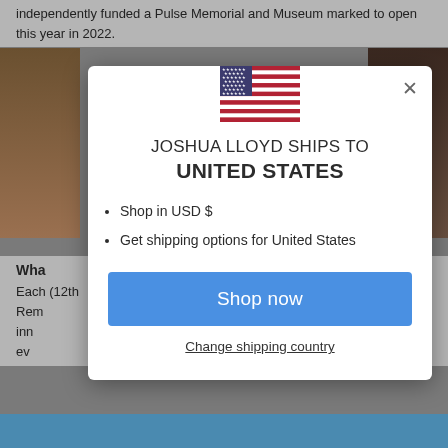independently funded a Pulse Memorial and Museum marked to open this year in 2022.
[Figure (screenshot): Modal dialog overlay on a website showing Joshua Lloyd ships to United States with a US flag icon]
Wha
Each (12th Rem inn ev
JOSHUA LLOYD SHIPS TO UNITED STATES
Shop in USD $
Get shipping options for United States
Shop now
Change shipping country